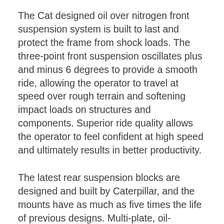The Cat designed oil over nitrogen front suspension system is built to last and protect the frame from shock loads. The three-point front suspension oscillates plus and minus 6 degrees to provide a smooth ride, allowing the operator to travel at speed over rough terrain and softening impact loads on structures and components. Superior ride quality allows the operator to feel confident at high speed and ultimately results in better productivity.
The latest rear suspension blocks are designed and built by Caterpillar, and the mounts have as much as five times the life of previous designs. Multi-plate, oil-immersed, enclosed brakes are fitted to both front and center axles. These brakes provide outstanding stopping capability while maintaining maximum durability.